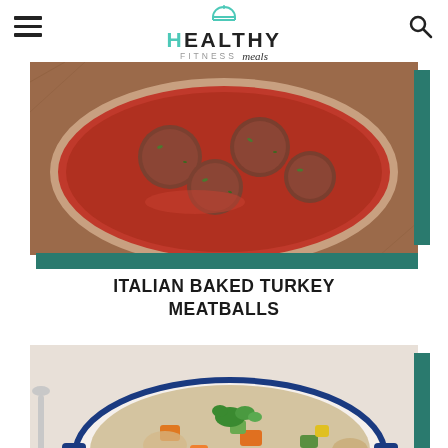[Figure (logo): Healthy Fitness Meals logo with chef hat icon, teal and dark text]
[Figure (photo): Italian baked turkey meatballs in tomato sauce in a pan, top-down view with teal accent bars]
ITALIAN BAKED TURKEY MEATBALLS
[Figure (photo): Italian chicken and bean stew in a white dutch oven with colorful vegetables, herbs, and beans]
ITALIAN CHICKEN AND BEAN SOUP